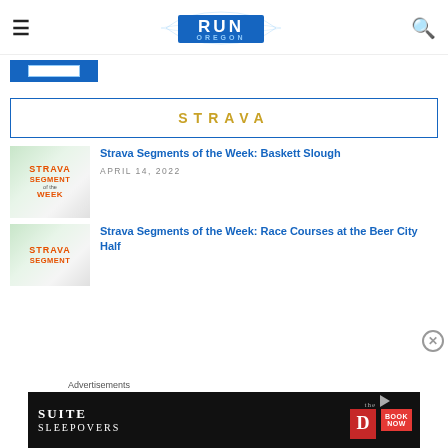≡  RUN OREGON  🔍
[Figure (screenshot): Partial blue image strip at top of content area]
STRAVA
[Figure (illustration): Strava Segment of the Week thumbnail map image]
Strava Segments of the Week: Baskett Slough
APRIL 14, 2022
[Figure (illustration): Strava Segment of the Week thumbnail map image]
Strava Segments of the Week: Race Courses at the Beer City Half
Advertisements
[Figure (screenshot): Advertisement banner: Suite Sleepovers at The D Las Vegas - Book Now]